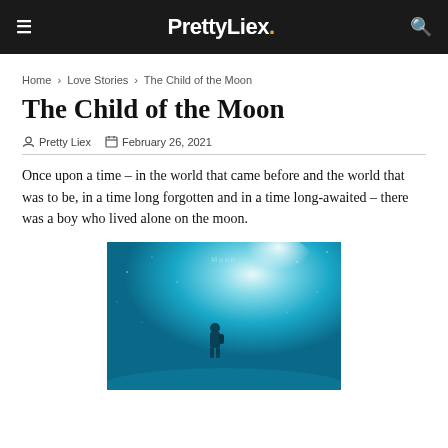PrettyLiex.
Home > Love Stories > The Child of the Moon
The Child of the Moon
Pretty Liex   February 26, 2021
Once upon a time – in the world that came before and the world that was to be, in a time long forgotten and in a time long-awaited – there was a boy who lived alone on the moon.
[Figure (photo): A figure of a person standing on a moonlit teal/blue glowing surface, with stars and space in the background. The silhouette appears to be of a small person or child looking up at a bright light source.]